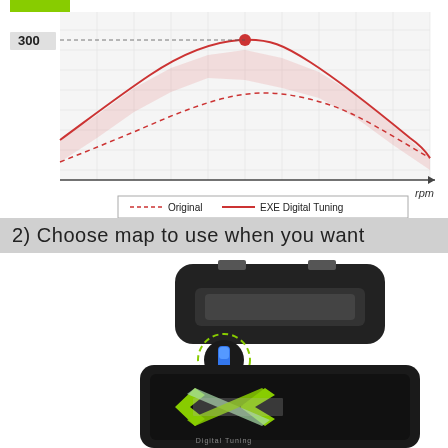[Figure (continuous-plot): Partial view of a torque/power vs RPM chart showing two curves: dashed red line (Original) and solid red line (EXE Digital Tuning). Y-axis label shows 300 with a red dot marking peak of EXE curve. X-axis labeled 'rpm'. Green area visible at top left. Shaded region between curves.]
2) Choose map to use when you want
[Figure (photo): Photo of an EXE Digital Tuning device — a black OBD/ECU tuning box with a blue toggle switch and dashed green circle indicator on top, connected to a black display unit showing the EXE Digital Tuning logo in green/silver. A dashed green line connects the button to the logo screen. Connector ports visible at top.]